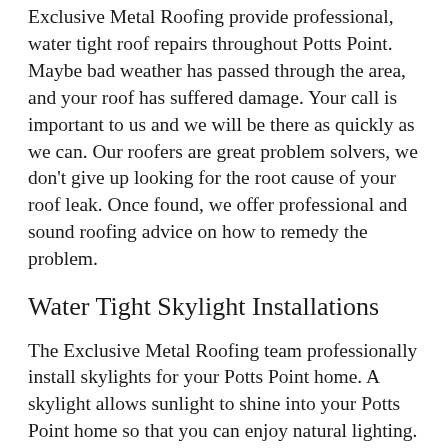Exclusive Metal Roofing provide professional, water tight roof repairs throughout Potts Point. Maybe bad weather has passed through the area, and your roof has suffered damage. Your call is important to us and we will be there as quickly as we can. Our roofers are great problem solvers, we don't give up looking for the root cause of your roof leak. Once found, we offer professional and sound roofing advice on how to remedy the problem.
Water Tight Skylight Installations
The Exclusive Metal Roofing team professionally install skylights for your Potts Point home. A skylight allows sunlight to shine into your Potts Point home so that you can enjoy natural lighting. Don't hesitate to call today to see how